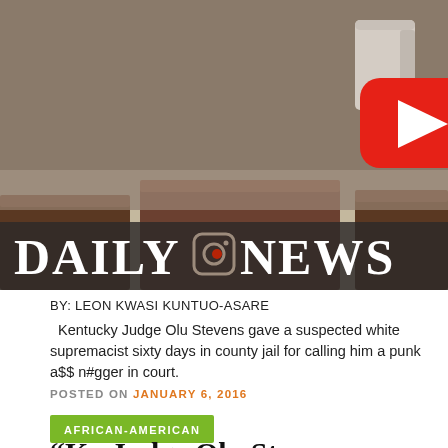[Figure (screenshot): Video thumbnail showing a courtroom interior with wooden desks/benches, a YouTube play button overlay, and a 'DAILY NEWS' logo bar at the bottom of the image.]
BY: LEON KWASI KUNTUO-ASARE
Kentucky Judge Olu Stevens gave a suspected white supremacist sixty days in county jail for calling him a punk a$$ n#gger in court.
POSTED ON JANUARY 6, 2016
AFRICAN-AMERICAN
“Ky Judge Olu Stevens speaks for the first time after controversy over all-